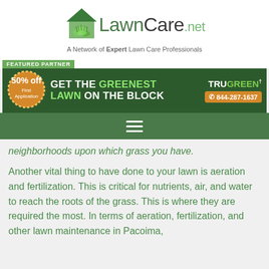[Figure (logo): LawnCare.net logo with house icon containing grass]
A Network of Expert Lawn Care Professionals
FEATURED PARTNER
[Figure (infographic): TruGreen advertisement banner: GET THE GREENEST LAWN ON THE BLOCK, 50% off First Application, 844-287-1637]
[Figure (infographic): Navigation hamburger menu icon on dark green bar]
neighborhoods upon which grass you have.
Another vital thing to have done to your lawn is aeration and fertilization. This is critical for nutrients, air, and water to reach the roots of the grass. This is where they are required the most. In terms of aeration, fertilization, and other lawn maintenance in Pacoima,